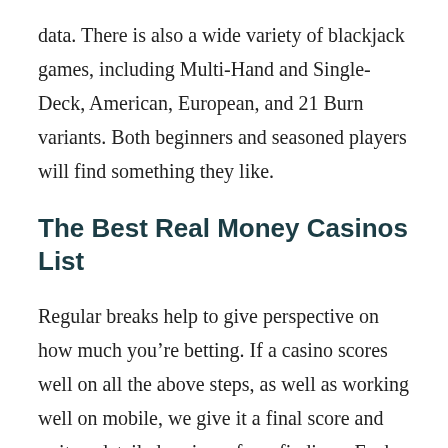data. There is also a wide variety of blackjack games, including Multi-Hand and Single-Deck, American, European, and 21 Burn variants. Both beginners and seasoned players will find something they like.
The Best Real Money Casinos List
Regular breaks help to give perspective on how much you’re betting. If a casino scores well on all the above steps, as well as working well on mobile, we give it a final score and write a detailed review of our findings. Each casino is re-checked every few weeks and our review scores